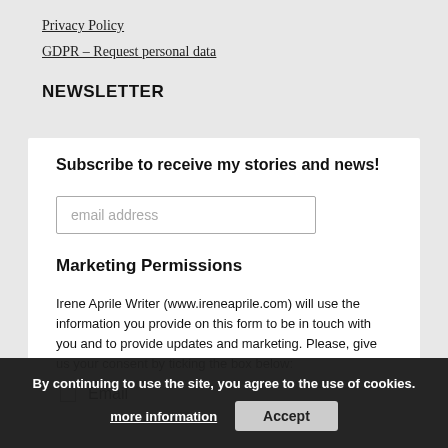Privacy Policy
GDPR – Request personal data
NEWSLETTER
Subscribe to receive my stories and news!
email address
Marketing Permissions
Irene Aprile Writer (www.ireneaprile.com) will use the information you provide on this form to be in touch with you and to provide updates and marketing. Please, give us your consent by ticking the box below:
Email
By continuing to use the site, you agree to the use of cookies.
more information
Accept